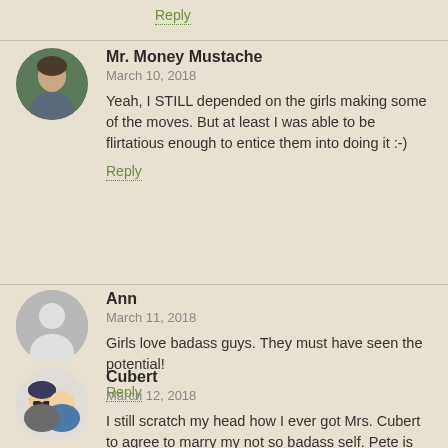Reply
Mr. Money Mustache
March 10, 2018
Yeah, I STILL depended on the girls making some of the moves. But at least I was able to be flirtatious enough to entice them into doing it :-)
Reply
Ann
March 11, 2018
Girls love badass guys. They must have seen the potential!
Reply
Cubert
March 12, 2018
I still scratch my head how I ever got Mrs. Cubert to agree to marry my not so badass self. Pete is the MAN. Ooops, sorry, I mean, Mr.